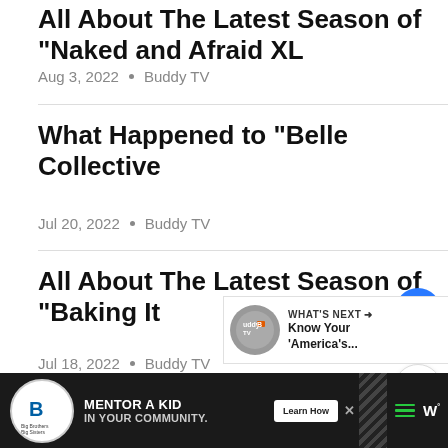All About The Latest Season of “Naked and Afraid XL
Aug 3, 2022 • Buddy TV
What Happened to “Belle Collective
Jul 20, 2022 • Buddy TV
All About The Latest Season of “Baking It
Jul 18, 2022 • Buddy TV
[Figure (other): Floating action bar with heart button (blue circle), count badge '1', and share button]
[Figure (other): What's Next widget showing Buddy TV logo and text 'Know Your America’s...']
[Figure (other): Ad banner: Big Brothers Big Sisters logo, text 'MENTOR A KID IN YOUR COMMUNITY.', Learn How button, decorative icons]